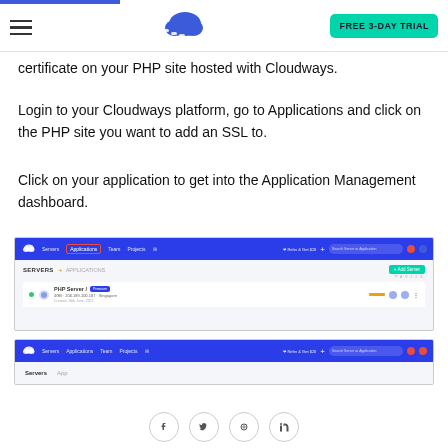Cloudways navigation header with FREE 3-DAY TRIAL button
certificate on your PHP site hosted with Cloudways.
Login to your Cloudways platform, go to Applications and click on the PHP site you want to add an SSL to.
Click on your application to get into the Application Management dashboard.
[Figure (screenshot): Cloudways dashboard screenshot showing Servers/Applications navigation with PHP Server entry]
[Figure (screenshot): Cloudways dashboard second screenshot showing navigation bar]
Social media icons: Facebook, Twitter, Pinterest, LinkedIn